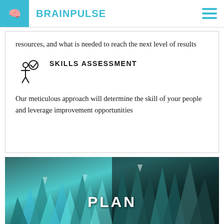BRAINPULSE
resources, and what is needed to reach the next level of results
SKILLS ASSESSMENT
Our meticulous approach will determine the skill of your people and leverage improvement opportunities
[Figure (photo): Abstract teal/cyan crystalline 3D spikes landscape with dark background and white 'PLAN' text overlay]